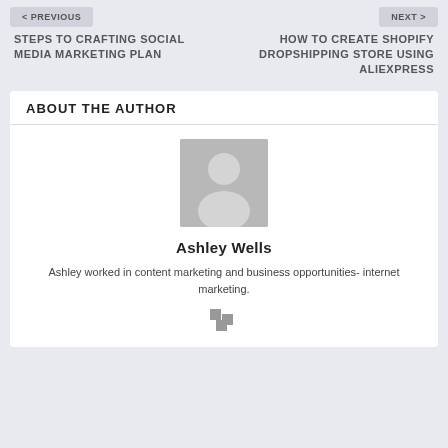< PREVIOUS
NEXT >
STEPS TO CRAFTING SOCIAL MEDIA MARKETING PLAN
HOW TO CREATE SHOPIFY DROPSHIPPING STORE USING ALIEXPRESS
ABOUT THE AUTHOR
[Figure (illustration): Generic grey avatar placeholder with silhouette of a person]
Ashley Wells
Ashley worked in content marketing and business opportunities- internet marketing.
[Figure (logo): Small grey social media icon made of two squares]